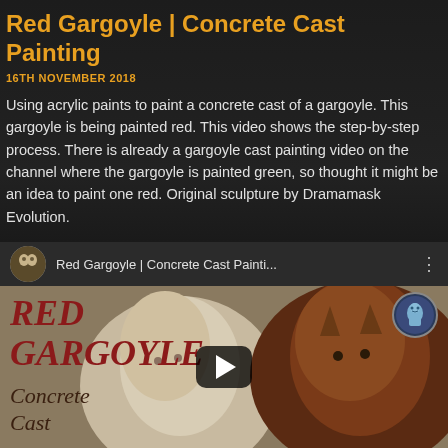Red Gargoyle | Concrete Cast Painting
16TH NOVEMBER 2018
Using acrylic paints to paint a concrete cast of a gargoyle. This gargoyle is being painted red. This video shows the step-by-step process. There is already a gargoyle cast painting video on the channel where the gargoyle is painted green, so thought it might be an idea to paint one red. Original sculpture by Dramamask Evolution.
[Figure (screenshot): YouTube video embed showing 'Red Gargoyle | Concrete Cast Painti...' with a thumbnail featuring text 'RED GARGOYLE' and 'Concrete Cast' alongside images of a white gargoyle and a red/brown gargoyle, with a play button in the center.]